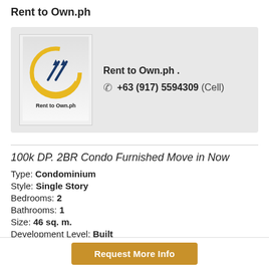Rent to Own.ph
[Figure (logo): Rent to Own.ph logo with yellow circular arrow design and 'Rent to Own.ph' text below]
Rent to Own.ph .
+63 (917) 5594309 (Cell)
100k DP. 2BR Condo Furnished Move in Now
Type: Condominium
Style: Single Story
Bedrooms: 2
Bathrooms: 1
Size: 46 sq. m.
Development Level: Built
Request More Info